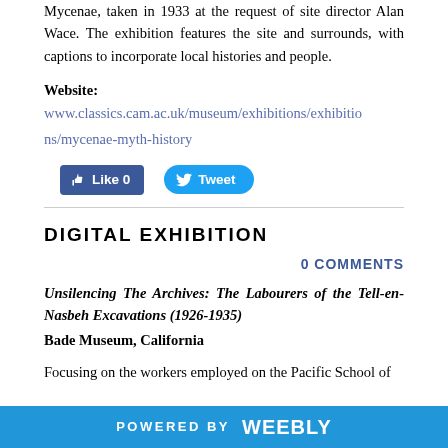Mycenae, taken in 1933 at the request of site director Alan Wace. The exhibition features the site and surrounds, with captions to incorporate local histories and people.
Website: www.classics.cam.ac.uk/museum/exhibitions/exhibitions/mycenae-myth-history
[Figure (other): Facebook Like button showing 0 likes and Twitter Tweet button]
DIGITAL EXHIBITION
0 COMMENTS
Unsilencing The Archives: The Labourers of the Tell-en-Nasbeh Excavations (1926-1935)
Bade Museum, California
Focusing on the workers employed on the Pacific School of
POWERED BY weebly